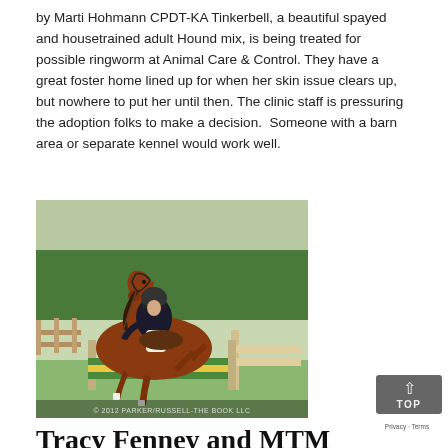by Marti Hohmann CPDT-KA Tinkerbell, a beautiful spayed and housetrained adult Hound mix, is being treated for possible ringworm at Animal Care & Control. They have a great foster home lined up for when her skin issue clears up, but nowhere to put her until then. The clinic staff is pressuring the adoption folks to make a decision. Someone with a barn area or separate kennel would work well.
[Figure (photo): A rider in equestrian gear on a chestnut horse jumping over a fence at an outdoor show. Copyright watermark reads '© 2012 Parker/Russell-The Book LLC']
Tracy Fenney and MTM